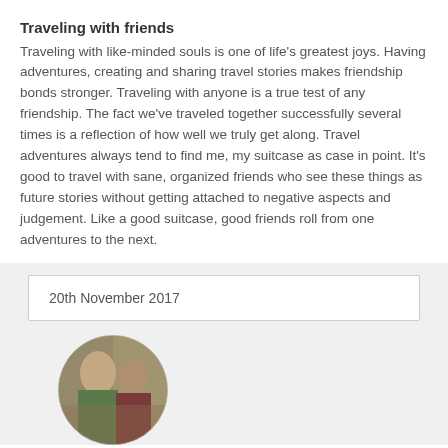Traveling with friends
Traveling with like-minded souls is one of life's greatest joys. Having adventures, creating and sharing travel stories makes friendship bonds stronger. Traveling with anyone is a true test of any friendship. The fact we've traveled together successfully several times is a reflection of how well we truly get along. Travel adventures always tend to find me, my suitcase as case in point. It's good to travel with sane, organized friends who see these things as future stories without getting attached to negative aspects and judgement. Like a good suitcase, good friends roll from one adventures to the next.
20th November 2017
[Figure (photo): Circular profile photo showing a group of friends together]